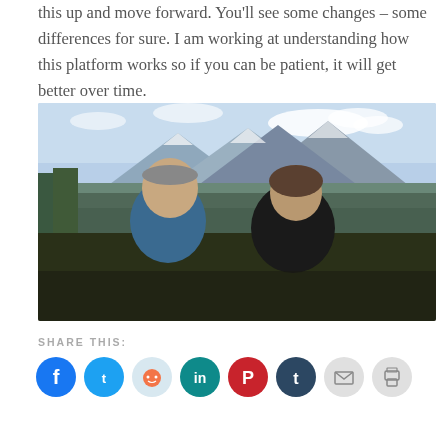this up and move forward. You'll see some changes – some differences for sure. I am working at understanding how this platform works so if you can be patient, it will get better over time.
[Figure (photo): Two people (a man in a blue plaid shirt and a woman in a black top) smiling in front of a mountain landscape with peaks and trees.]
SHARE THIS:
[Figure (infographic): Row of social media sharing icons: Facebook (blue), Twitter (cyan), Reddit (light gray), LinkedIn (teal), Pinterest (red), Tumblr (dark navy), Email (light gray), Print (light gray)]